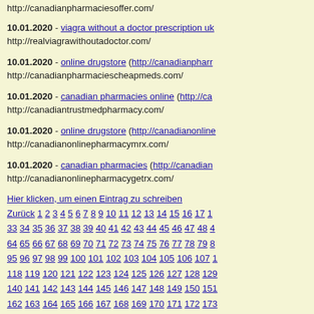http://canadianpharmaciesoffer.com/
10.01.2020 - viagra without a doctor prescription uk
http://realviagrawithoutadoctor.com/
10.01.2020 - online drugstore (http://canadianphar...
http://canadianpharmaciescheapmeds.com/
10.01.2020 - canadian pharmacies online (http://ca...
http://canadiantrustmedpharmacy.com/
10.01.2020 - online drugstore (http://canadianonline...
http://canadianonlinepharmacymrx.com/
10.01.2020 - canadian pharmacies (http://canadian...
http://canadianonlinepharmacygetrx.com/
Hier klicken, um einen Eintrag zu schreiben
Zurück 1 2 3 4 5 6 7 8 9 10 11 12 13 14 15 16 17 1...
33 34 35 36 37 38 39 40 41 42 43 44 45 46 47 48 4...
64 65 66 67 68 69 70 71 72 73 74 75 76 77 78 79 8...
95 96 97 98 99 100 101 102 103 104 105 106 107 ...
118 119 120 121 122 123 124 125 126 127 128 129...
140 141 142 143 144 145 146 147 148 149 150 151...
162 163 164 165 166 167 168 169 170 171 172 173...
184 185 186 187 188 189 190 191 192 193 194 195...
206 207 208 209 210 211 212 213 214 215 216 21...